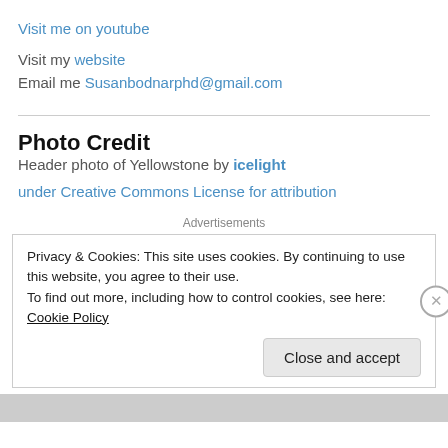Visit me on youtube
Visit my website
Email me Susanbodnarphd@gmail.com
Photo Credit
Header photo of Yellowstone by icelight
under Creative Commons License for attribution
Advertisements
Privacy & Cookies: This site uses cookies. By continuing to use this website, you agree to their use.
To find out more, including how to control cookies, see here: Cookie Policy
Close and accept